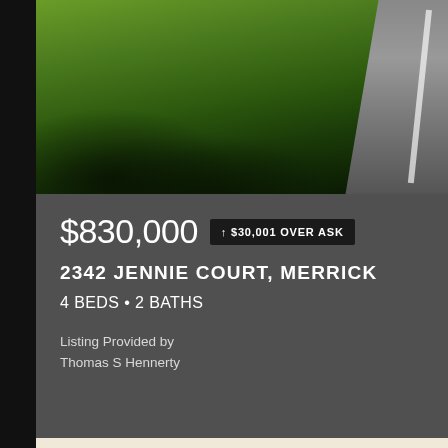[Figure (photo): Aerial or street-level view of a residential property with green lawn and a road visible in the upper right corner]
$830,000  ↑ $30,001 OVER ASK
2342 JENNIE COURT, MERRICK
4 BEDS • 2 BATHS
Listing Provided by
Thomas S Hennerty
[Figure (photo): Interior photo of a bright living room or dining area with a chandelier, large windows, and wall art. Labeled CLOSED with a Virtually Staged watermark.]